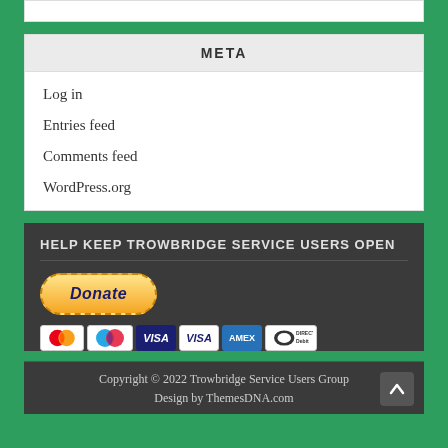META
Log in
Entries feed
Comments feed
WordPress.org
HELP KEEP TROWBRIDGE SERVICE USERS OPEN
[Figure (other): PayPal Donate button with payment card icons: MasterCard, Maestro, Visa, Visa Electron, American Express, Direct Debit]
Copyright © 2022 Trowbridge Service Users Group
Design by ThemesDNA.com